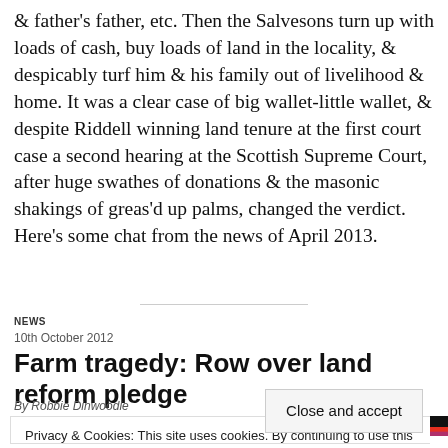& father's father, etc. Then the Salvesons turn up with loads of cash, buy loads of land in the locality, & despicably turf him & his family out of livelihood & home. It was a clear case of big wallet-little wallet, & despite Riddell winning land tenure at the first court case a second hearing at the Scottish Supreme Court, after huge swathes of donations & the masonic shakings of greas'd up palms, changed the verdict. Here's some chat from the news of April 2013.
NEWS
10th October 2012
Farm tragedy: Row over land reform pledge
By Robbie Dinwoodie
Privacy & Cookies: This site uses cookies. By continuing to use this website, you agree to their use.
To find out more, including how to control cookies, see here: Cookie Policy